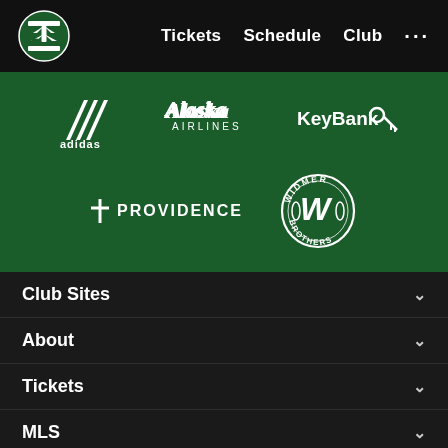Portland Timbers navigation bar with logo, Tickets, Schedule, Club, ...
[Figure (logo): Sponsors banner: adidas, Alaska Airlines, KeyBank, Providence, Widmer Brothers on dark green background]
Club Sites
About
Tickets
MLS
Shop